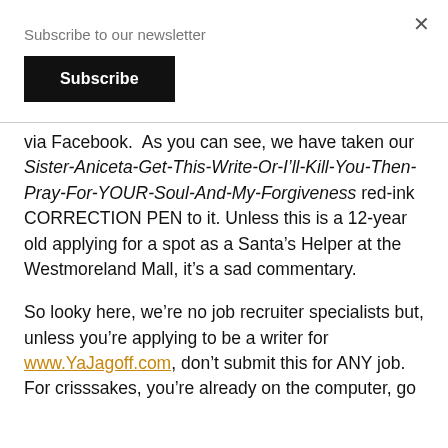Subscribe to our newsletter
Subscribe
via Facebook.  As you can see, we have taken our Sister-Aniceta-Get-This-Write-Or-I'll-Kill-You-Then-Pray-For-YOUR-Soul-And-My-Forgiveness red-ink CORRECTION PEN to it. Unless this is a 12-year old applying for a spot as a Santa’s Helper at the Westmoreland Mall, it’s a sad commentary.
So looky here, we’re no job recruiter specialists but, unless you’re applying to be a writer for www.YaJagoff.com, don’t submit this for ANY job. For crisssakes, you’re already on the computer, go